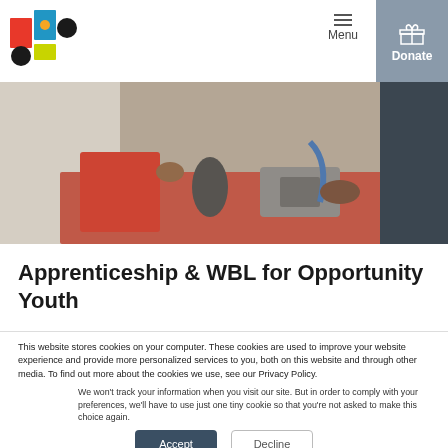Menu | Donate
[Figure (photo): Students working with mechanical parts and tools at a workshop table]
Apprenticeship & WBL for Opportunity Youth
This website stores cookies on your computer. These cookies are used to improve your website experience and provide more personalized services to you, both on this website and through other media. To find out more about the cookies we use, see our Privacy Policy.
We won't track your information when you visit our site. But in order to comply with your preferences, we'll have to use just one tiny cookie so that you're not asked to make this choice again.